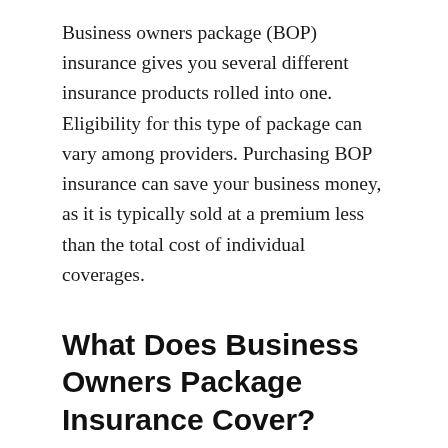Business owners package (BOP) insurance gives you several different insurance products rolled into one. Eligibility for this type of package can vary among providers. Purchasing BOP insurance can save your business money, as it is typically sold at a premium less than the total cost of individual coverages.
What Does Business Owners Package Insurance Cover?
BOP insurance can be individually-tailored to suit your business. Our knowledgeable agent can help you design a package that provides the